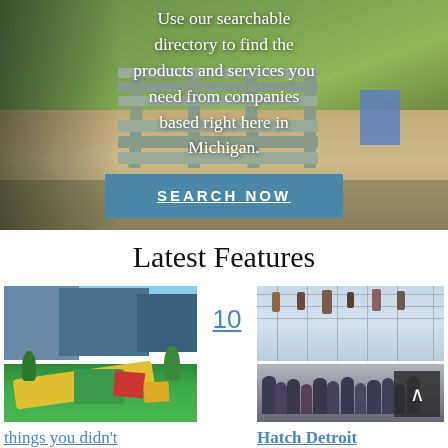[Figure (photo): Hero background photo of a wooden park bench on sandy/grassy ground, with overlaid white centered text and a blue 'SEARCH NOW' button.]
Use our searchable directory to find the products and services you need from companies based right here in Michigan.
SEARCH NOW
Latest Features
[Figure (photo): Photo of a colorful mini golf course in an urban setting with city buildings in the background.]
10
[Figure (photo): Photo of a crowded indoor event space with people gathered, presumably a Hatch Detroit event.]
things you didn't
Hatch Detroit